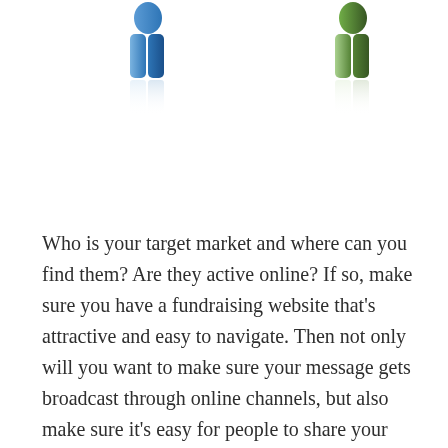[Figure (illustration): Two 3D human figure icons: one blue (left) and one green (right), each with a mirror reflection below, placed at the top of the page.]
Who is your target market and where can you find them? Are they active online? If so, make sure you have a fundraising website that's attractive and easy to navigate. Then not only will you want to make sure your message gets broadcast through online channels, but also make sure it's easy for people to share your message. Use social sharing widgets & post cool imagery and videos that draw people in. Give people an incentive to help you spread the word. Award people who raise the most funds or drive the most traffic to your website. Look to relevant social media groups that are already invested in your cause and may be more likely to give back. Don't forget about online channels such as online community groups, local email